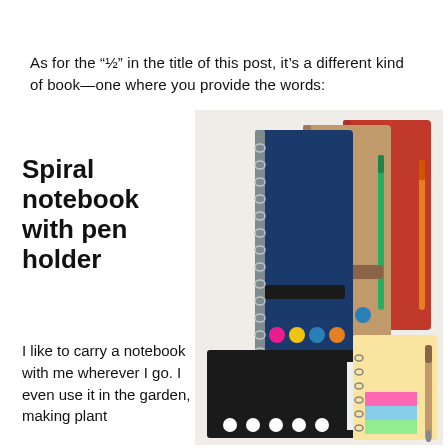As for the “½” in the title of this post, it’s a different kind of book—one where you provide the words:
[Figure (photo): Multiple spiral notebooks with pen holders in various colors (navy blue, kraft brown, orange, red) showing colorful dot sticky tabs, and a black notebook with colorful sticky note tabs and a pen]
Spiral notebook with pen holder
I like to carry a notebook with me wherever I go. I even use it in the garden, making plant